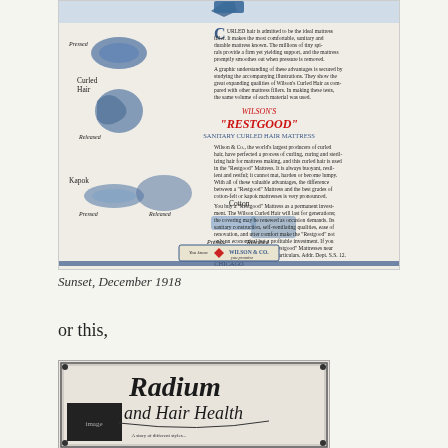[Figure (illustration): Vintage advertisement for Wilson's 'Restgood' Sanitary Curled Hair Mattress from Sunset, December 1918. Shows illustrations of Curled Hair, Cotton, and Kapok fibers (pressed and released), with advertising text and Wilson & Co. logo, Chicago.]
Sunset, December 1918
or this,
[Figure (illustration): Vintage advertisement showing 'Radium and Hair Health' in decorative script lettering with an image below.]